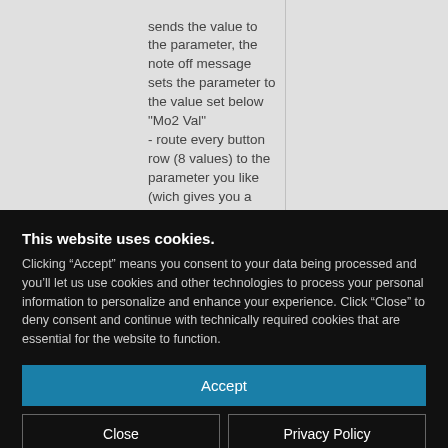sends the value to the parameter, the note off message sets the parameter to the value set below "Mo2 Val" - route every button row (8 values) to the parameter you like (wich gives you a fancy light show in Push mode and the possibility of 64
This website uses cookies. Clicking “Accept” means you consent to your data being processed and you’ll let us use cookies and other technologies to process your personal information to personalize and enhance your experience. Click “Close” to deny consent and continue with technically required cookies that are essential for the website to function.